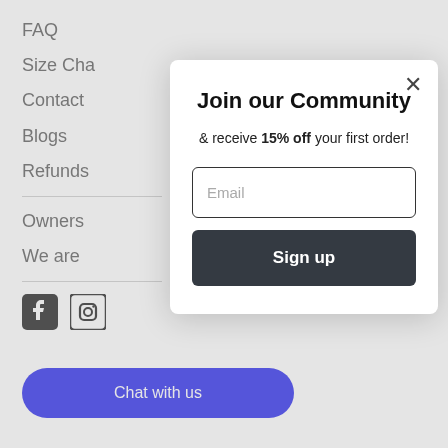FAQ
Size Cha…
Contact
Blogs
Refunds
Owners
We are
[Figure (screenshot): Social media icons: Facebook and Instagram]
Chat with us
Join our Community
& receive 15% off your first order!
Email (input field placeholder)
Sign up (button)